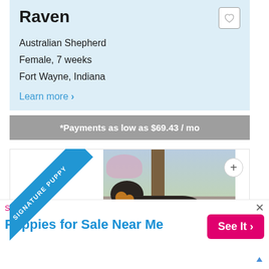Raven
Australian Shepherd
Female, 7 weeks
Fort Wayne, Indiana
Learn more >
*Payments as low as $69.43 / mo
[Figure (photo): A black and tan puppy (Australian Shepherd) lying on gravel/rocks outdoors, with a blue 'SIGNATURE PUPPY' ribbon banner in the top-left corner and a + button in the top-right]
Search for
Puppies for Sale Near Me
See It >